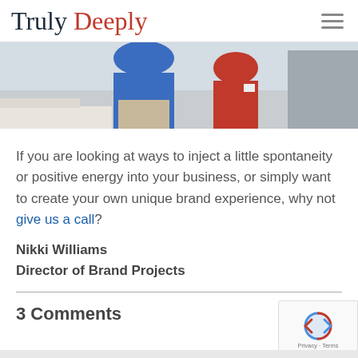Truly Deeply
[Figure (photo): Partial view of people at a table, including someone in a blue top and a child in a red shirt]
If you are looking at ways to inject a little spontaneity or positive energy into your business, or simply want to create your own unique brand experience, why not give us a call?
Nikki Williams
Director of Brand Projects
3 Comments